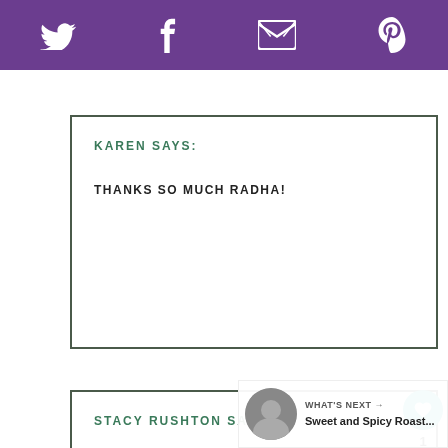Twitter | Facebook | Email | Pinterest
KAREN SAYS:
THANKS SO MUCH RADHA!
STACY RUSHTON SAYS:
WHEN I MARRIED MY HUSBAND, HE WOULD NOT EAT OLIVES. IT TOOK A MOVE TO ABU DHABI TO CONVINCE HIM THAT OLIVES CAN BE LOVELY AND WE ARE BOTH FANS. YOUR SPICY WOULD BE VERY POPULAR AT OUR HOUSE, KAREN!